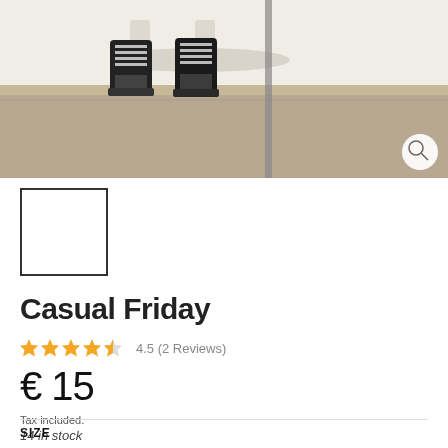[Figure (photo): Street art / mural showing feet wearing black and white sneakers/boots, hanging over a wall with shadows visible. Text on image reads 'los pies bear rebel'.]
[Figure (photo): Small thumbnail image of the same street art product, shown in a white box with dark border.]
Casual Friday
4.5 (2 Reviews)
€ 15
Tax included.
14 in stock
SIZE